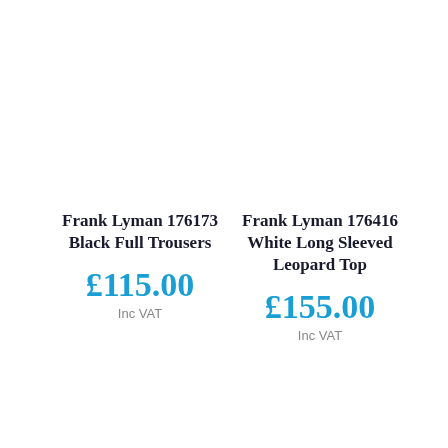Frank Lyman 176173 Black Full Trousers
£115.00 Inc VAT
Frank Lyman 176416 White Long Sleeved Leopard Top
£155.00 Inc VAT